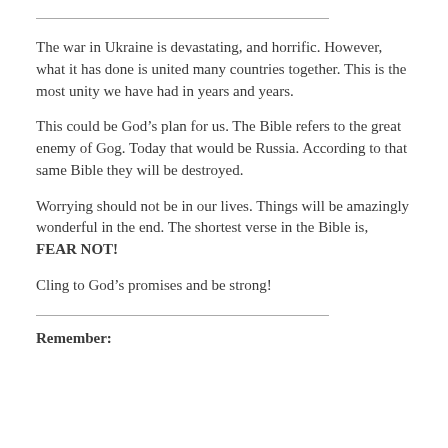The war in Ukraine is devastating, and horrific. However, what it has done is united many countries together. This is the most unity we have had in years and years.
This could be God’s plan for us. The Bible refers to the great enemy of Gog. Today that would be Russia. According to that same Bible they will be destroyed.
Worrying should not be in our lives. Things will be amazingly wonderful in the end. The shortest verse in the Bible is, FEAR NOT!
Cling to God’s promises and be strong!
Remember: